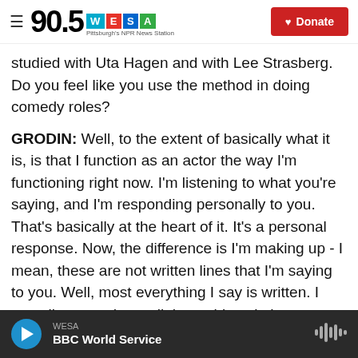90.5 WESA Pittsburgh's NPR News Station | Donate
studied with Uta Hagen and with Lee Strasberg. Do you feel like you use the method in doing comedy roles?
GRODIN: Well, to the extent of basically what it is, is that I function as an actor the way I'm functioning right now. I'm listening to what you're saying, and I'm responding personally to you. That's basically at the heart of it. It's a personal response. Now, the difference is I'm making up - I mean, these are not written lines that I'm saying to you. Well, most everything I say is written. I actually wrote down all these things in hopes you'd ask some of these
WESA | BBC World Service